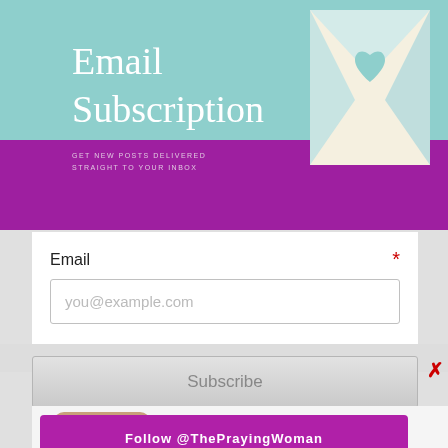[Figure (illustration): Email subscription banner with teal and purple background, envelope with heart icon, 'Email Subscription' title text]
Email *
you@example.com
Subscribe
[Figure (logo): Instagram camera icon logo]
FOLLOW US ON
Instagram
Follow @ThePrayingWoman